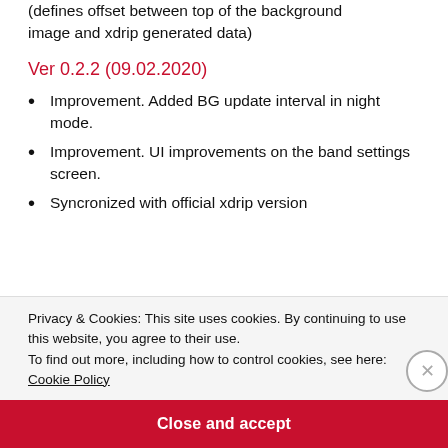(defines offset between top of the background image and xdrip generated data)
Ver 0.2.2 (09.02.2020)
Improvement. Added BG update interval in night mode.
Improvement. UI improvements on the band settings screen.
Syncronized with official xdrip version
Privacy & Cookies: This site uses cookies. By continuing to use this website, you agree to their use.
To find out more, including how to control cookies, see here:
Cookie Policy
Close and accept